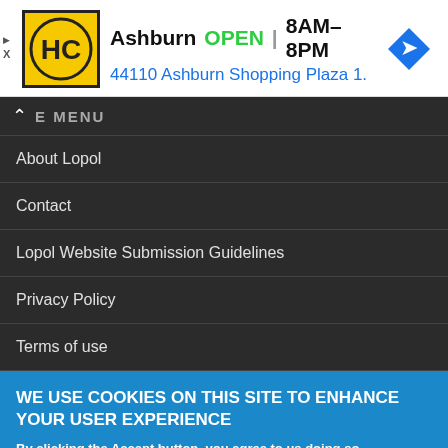[Figure (other): Advertisement banner for Harvest Church (HC logo) showing Ashburn location: OPEN 8AM-8PM, address 44110 Ashburn Shopping Plaza 1., with navigation arrow icon]
About Lopol
Contact
Lopol Website Submission Guidelines
Privacy Policy
Terms of use
WE USE COOKIES ON THIS SITE TO ENHANCE YOUR USER EXPERIENCE
By clicking the Accept button, you agree to us doing so.
Accept   No, thanks